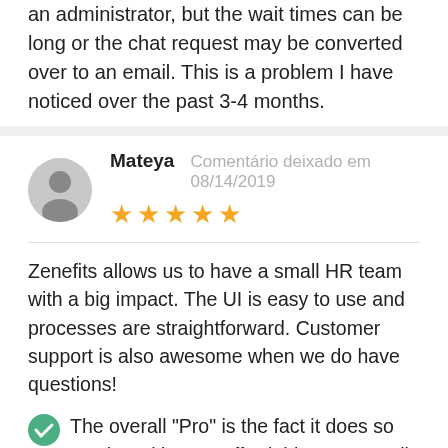an administrator, but the wait times can be long or the chat request may be converted over to an email. This is a problem I have noticed over the past 3-4 months.
Mateya   Comentário deixado em 08/14/2019   ★★★★★
Zenefits allows us to have a small HR team with a big impact. The UI is easy to use and processes are straightforward. Customer support is also awesome when we do have questions!
✅ The overall "Pro" is the fact it does so much and is very affordable! As a small bootstrapped start-up, having most of our HR functionality in one easy to use place makes a huge difference in effectively managing our employees and adhering to budget needs.